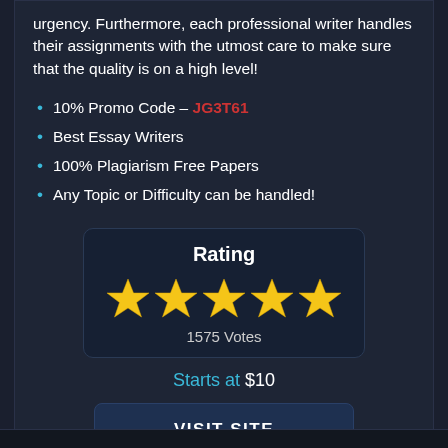urgency. Furthermore, each professional writer handles their assignments with the utmost care to make sure that the quality is on a high level!
10% Promo Code – JG3T61
Best Essay Writers
100% Plagiarism Free Papers
Any Topic or Difficulty can be handled!
[Figure (infographic): Rating box with 5 gold stars and 1575 Votes]
Starts at $10
VISIT SITE